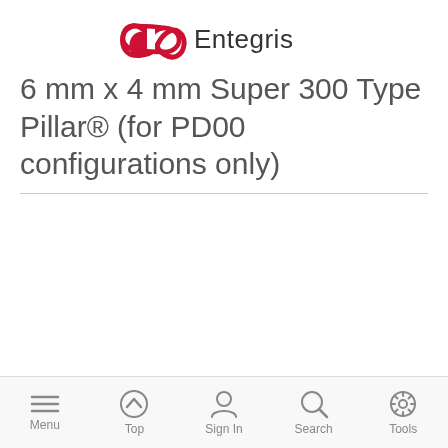[Figure (logo): Entegris company logo with red infinity-like symbol and dark text]
6 mm x 4 mm Super 300 Type Pillar® (for PD00 configurations only)
Showing 0 Products
Menu | Top | Sign In | Search | Tools